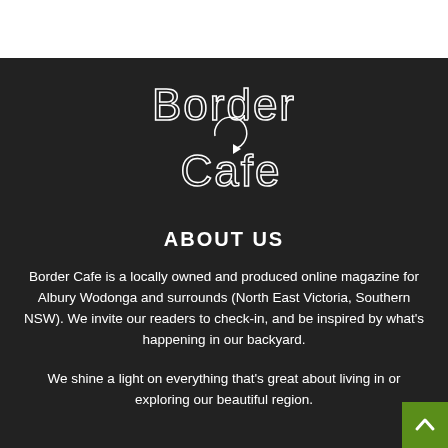[Figure (logo): Border Cafe logo in white outline text on dark background, stylized with circular arrow element between 'Border' and 'Cafe' words]
ABOUT US
Border Cafe is a locally owned and produced online magazine for Albury Wodonga and surrounds (North East Victoria, Southern NSW). We invite our readers to check-in, and be inspired by what's happening in our backyard.
We shine a light on everything that's great about living in or exploring our beautiful region.